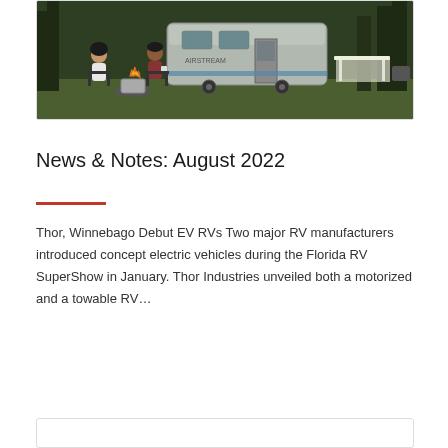[Figure (photo): Two people sitting outdoors in front of an Airstream-style travel trailer with a fire pit, table, and trees in background]
News & Notes: August 2022
Thor, Winnebago Debut EV RVs Two major RV manufacturers introduced concept electric vehicles during the Florida RV SuperShow in January. Thor Industries unveiled both a motorized and a towable RV…